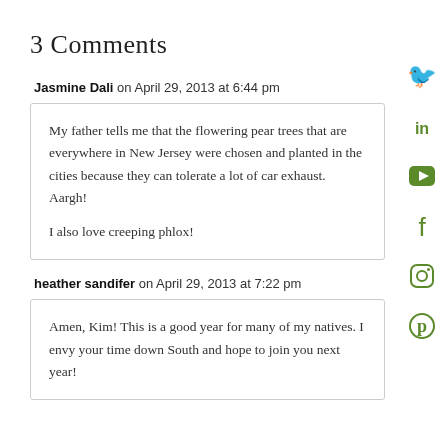3 Comments
Jasmine Dali on April 29, 2013 at 6:44 pm
My father tells me that the flowering pear trees that are everywhere in New Jersey were chosen and planted in the cities because they can tolerate a lot of car exhaust. Aargh!

I also love creeping phlox!
heather sandifer on April 29, 2013 at 7:22 pm
Amen, Kim! This is a good year for many of my natives. I envy your time down South and hope to join you next year!